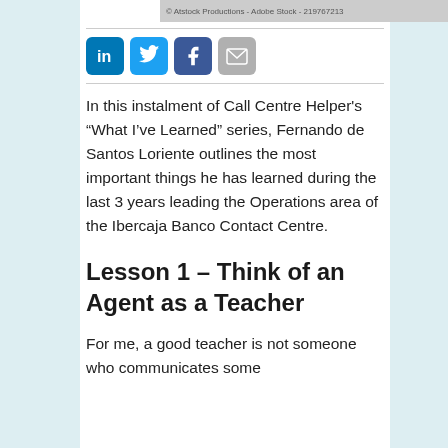[Figure (photo): Photo strip at top with credit text: © Atstock Productions - Adobe Stock - 219767213]
[Figure (infographic): Social sharing icons: LinkedIn, Twitter, Facebook, Email]
In this instalment of Call Centre Helper's “What I’ve Learned” series, Fernando de Santos Loriente outlines the most important things he has learned during the last 3 years leading the Operations area of the Ibercaja Banco Contact Centre.
Lesson 1 – Think of an Agent as a Teacher
For me, a good teacher is not someone who communicates some